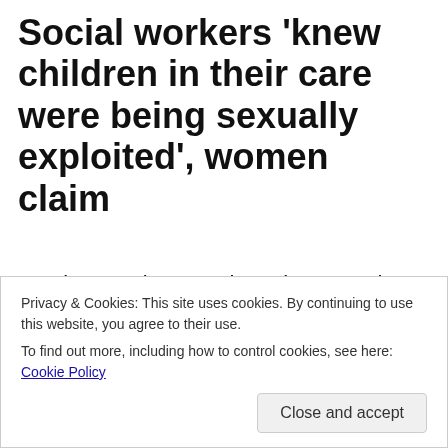Social workers 'knew children in their care were being sexually exploited', women claim
Jessica was just 14 when she was taken into care by Rotherham Council. She was pregnant and believed she was in love in with a man who was almost twice her age, married and with a violent criminal record.
Privacy & Cookies: This site uses cookies. By continuing to use this website, you agree to their use. To find out more, including how to control cookies, see here: Cookie Policy